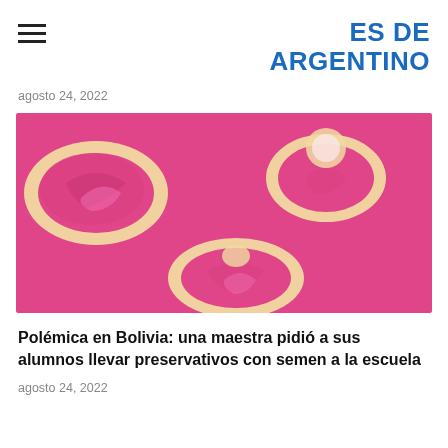ES DE ARGENTINO
agosto 24, 2022
[Figure (photo): Three unrolled condoms on a pink background]
Polémica en Bolivia: una maestra pidió a sus alumnos llevar preservativos con semen a la escuela
agosto 24, 2022